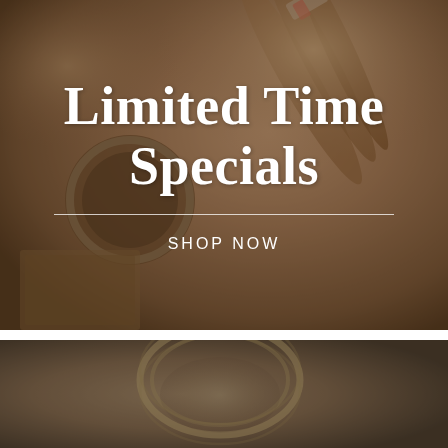[Figure (photo): Top section: dark brownish-warm background photograph of cigars and a pocket watch, overlaid with a semi-transparent brown overlay. White bold serif text reads 'Limited Time Specials' centered, with a thin horizontal divider line and 'SHOP NOW' in spaced sans-serif below.]
Limited Time Specials
SHOP NOW
[Figure (photo): Bottom section: dark brownish-gray photograph of a glass tumbler on a wooden surface, with a semi-transparent dark overlay giving a moody atmosphere.]